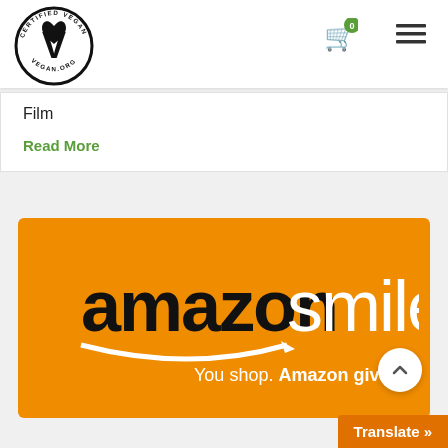[Figure (logo): Certified Vegan logo — circular badge with heart-shaped V and text 'CERTIFIED VEGAN VEGAN.ORG']
[Figure (infographic): Shopping cart icon with green badge showing '0']
[Figure (infographic): Hamburger menu icon (three horizontal lines)]
Film
Read More
[Figure (infographic): Amazon Smile banner on orange background with 'amazonsmile' logo and tagline 'You shop. Amazon gives.']
Translate »